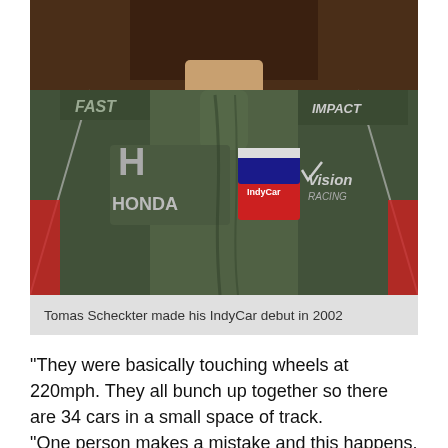[Figure (photo): Close-up photo of a racing driver in a dark olive/grey race suit with Honda, IndyCar, Vision Racing, and Impact logos/patches visible on the suit. Person visible from chest up with a brown background.]
Tomas Scheckter made his IndyCar debut in 2002
"They were basically touching wheels at 220mph. They all bunch up together so there are 34 cars in a small space of track.
"One person makes a mistake and this happens. You